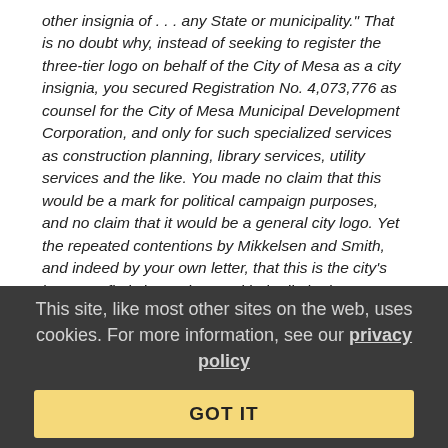other insignia of . . . any State or municipality." That is no doubt why, instead of seeking to register the three-tier logo on behalf of the City of Mesa as a city insignia, you secured Registration No. 4,073,776 as counsel for the City of Mesa Municipal Development Corporation, and only for such specialized services as construction planning, library services, utility services and the like. You made no claim that this would be a mark for political campaign purposes, and no claim that it would be a general city logo. Yet the repeated contentions by Mikkelsen and Smith, and indeed by your own letter, that this is the city's logo, are flatly inconsistent with the limited purposes for which this logo was registered. If we have to litigate this case, the record will only draw public attention to how your client is trying to expand the rights conferred by the federal registration beyond what the Lanham Act allows, and, indeed, in a manner
This site, like most other sites on the web, uses cookies. For more information, see our privacy policy
GOT IT